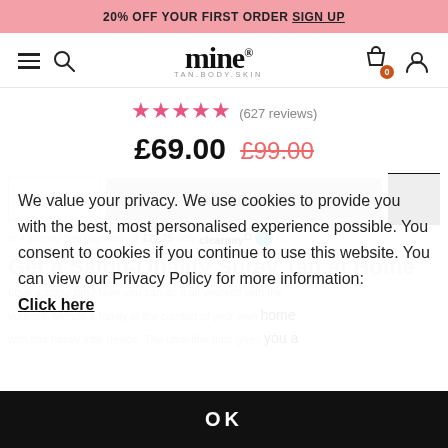20% OFF YOUR FIRST ORDER SIGN UP
[Figure (logo): Mine Tan Body Skin logo with hamburger menu, search icon, cart and user icons]
★★★★★ (627 reviews)
£69.00 £99.00
[Figure (screenshot): Add to cart button with quantity selector and black icon button]
or 4 interest-free payments of £17.25 with clearpay
Get a Salon-Quality Spray Tan at Home
Love a spray tan? Now you can do it all yourself with the M... tan yourself, friends & family in the comfort of your own home with this handy little device. The ultra-fine mist gives you a
We value your privacy. We use cookies to provide you with the best, most personalised experience possible. You consent to cookies if you continue to use this website. You can view our Privacy Policy for more information: Click here
OK